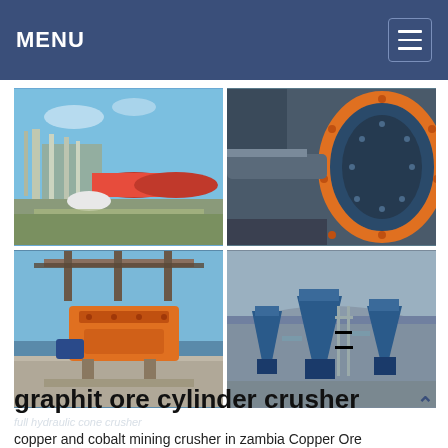MENU
[Figure (photo): Four-panel photo grid showing mining/crushing equipment: top-left shows an industrial plant with a red cylindrical drum under blue sky; top-right shows a large rotating ball mill close-up with blue body and orange flange; bottom-left shows an orange jaw crusher machine on a concrete platform; bottom-right shows multiple blue cone crushers at a processing facility.]
graphit ore cylinder crusher
copper and cobalt mining crusher in zambia Copper Ore